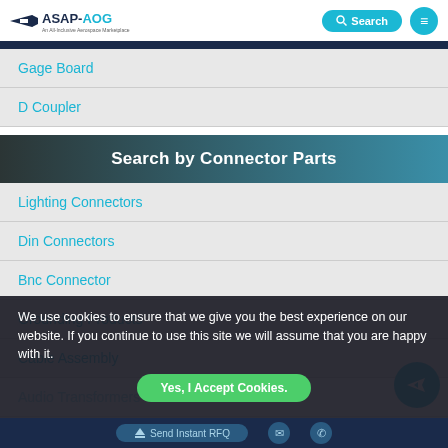ASAP-AOG | Search | Menu
Gage Board
D Coupler
Search by Connector Parts
Lighting Connectors
Din Connectors
Bnc Connector
Grounding Products
Cable Assembly
Audio Transformers
Industrial Connectors
We use cookies to ensure that we give you the best experience on our website. If you continue to use this site we will assume that you are happy with it.
Yes, I Accept Cookies.